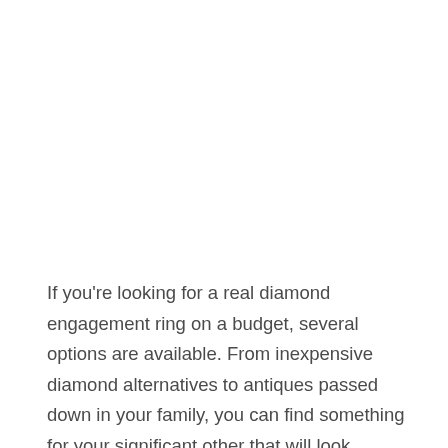If you're looking for a real diamond engagement ring on a budget, several options are available. From inexpensive diamond alternatives to antiques passed down in your family, you can find something for your significant other that will look stunning on her finger. Some rings are